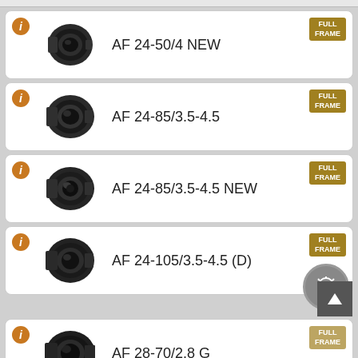AF 24-50/4 NEW
AF 24-85/3.5-4.5
AF 24-85/3.5-4.5 NEW
AF 24-105/3.5-4.5 (D)
AF 28-70/2.8 G